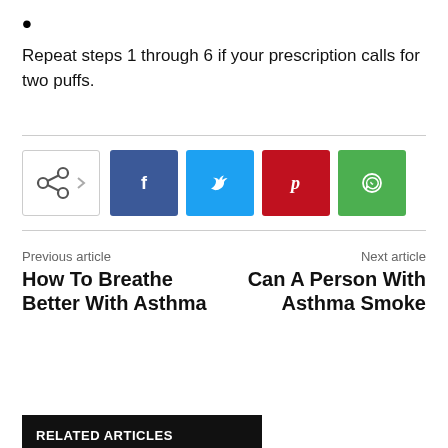Repeat steps 1 through 6 if your prescription calls for two puffs.
[Figure (infographic): Social share buttons row: share icon box with arrow, followed by Facebook (blue), Twitter (cyan), Pinterest (red), WhatsApp (green) icon buttons]
Previous article
How To Breathe Better With Asthma
Next article
Can A Person With Asthma Smoke
RELATED ARTICLES